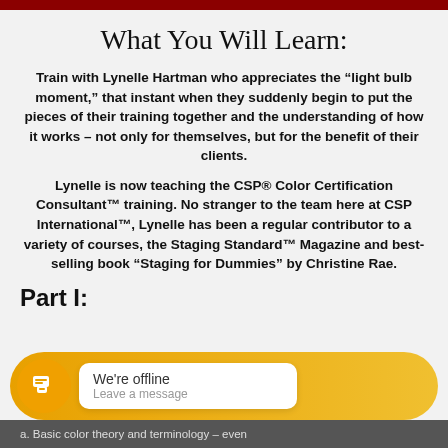What You Will Learn:
Train with Lynelle Hartman who appreciates the “light bulb moment,” that instant when they suddenly begin to put the pieces of their training together and the understanding of how it works – not only for themselves, but for the benefit of their clients.
Lynelle is now teaching the CSP® Color Certification Consultant™ training. No stranger to the team here at CSP International™, Lynelle has been a regular contributor to a variety of courses, the Staging Standard™ Magazine and best-selling book “Staging for Dummies” by Christine Rae.
Part I:
a. Basic color theory and terminology – even